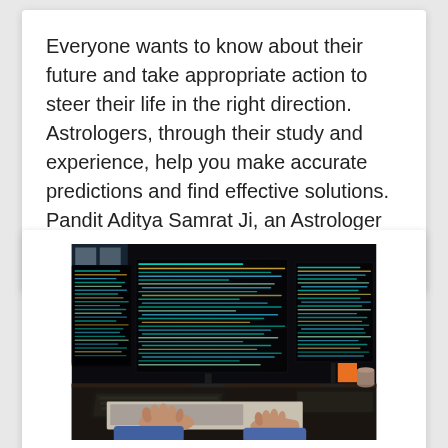Everyone wants to know about their future and take appropriate action to steer their life in the right direction. Astrologers, through their study and experience, help you make accurate predictions and find effective solutions. Pandit Aditya Samrat Ji, an Astrologer based in India, is one of the...
[Figure (photo): A person typing on a laptop keyboard at a desk with multiple large monitors displaying colorful code in a dark environment. An orange sticky note and a coffee cup are visible on the desk.]